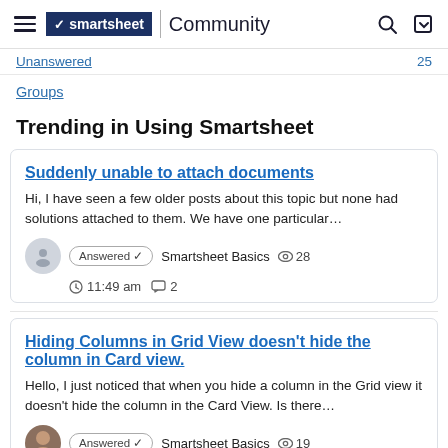smartsheet | Community
Unanswered 25
Groups
Trending in Using Smartsheet
Suddenly unable to attach documents
Hi, I have seen a few older posts about this topic but none had solutions attached to them. We have one particular…
Answered ✓  Smartsheet Basics  28  11:49 am  2
Hiding Columns in Grid View doesn't hide the column in Card view.
Hello, I just noticed that when you hide a column in the Grid view it doesn't hide the column in the Card View. Is there…
Answered ✓  Smartsheet Basics  19